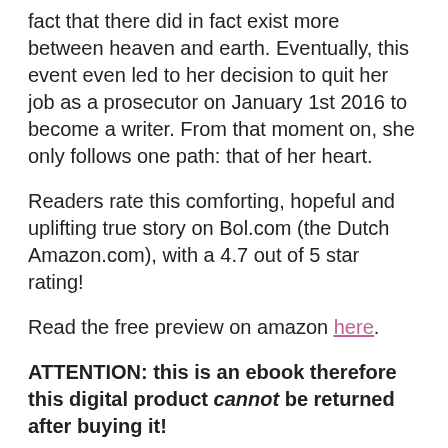fact that there did in fact exist more between heaven and earth. Eventually, this event even led to her decision to quit her job as a prosecutor on January 1st 2016 to become a writer. From that moment on, she only follows one path: that of her heart.
Readers rate this comforting, hopeful and uplifting true story on Bol.com (the Dutch Amazon.com), with a 4.7 out of 5 star rating!
Read the free preview on amazon here.
ATTENTION: this is an ebook therefore this digital product cannot be returned after buying it!
€9.99